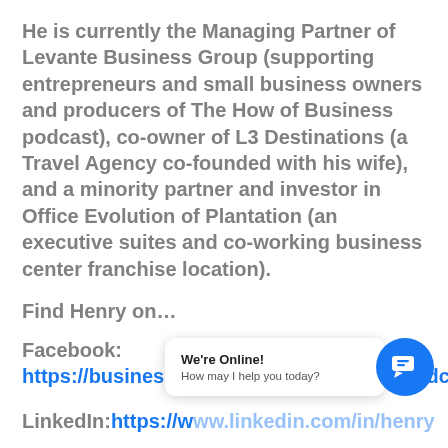He is currently the Managing Partner of Levante Business Group (supporting entrepreneurs and small business owners and producers of The How of Business podcast), co-owner of L3 Destinations (a Travel Agency co-founded with his wife), and a minority partner and investor in Office Evolution of Plantation (an executive suites and co-working business center franchise location).
Find Henry on…
Facebook: https://business.facebook.com/TheHOBPodcast
LinkedIn: https://www.linkedin.com/in/henrylopez-9758534/